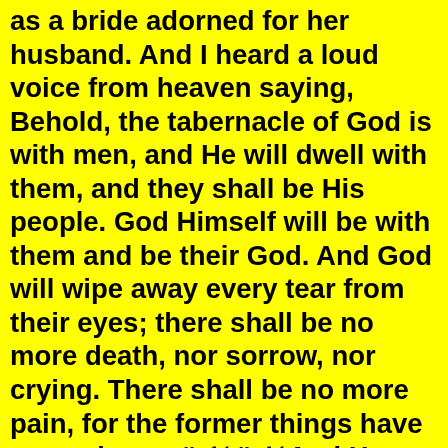as a bride adorned for her husband. And I heard a loud voice from heaven saying, Behold, the tabernacle of God is with men, and He will dwell with them, and they shall be His people. God Himself will be with them and be their God. And God will wipe away every tear from their eyes; there shall be no more death, nor sorrow, nor crying. There shall be no more pain, for the former things have passed away.ï¿½ ï¿½And He said to me, ï¿½It is done! I am the Alpha and the Omega, the Beginning and the End. I will give of the fountain of the water of life freely to him who thirsts. He who overcomes shall inherit all things, and I will be his God and he shall be My son. But the cowardly,